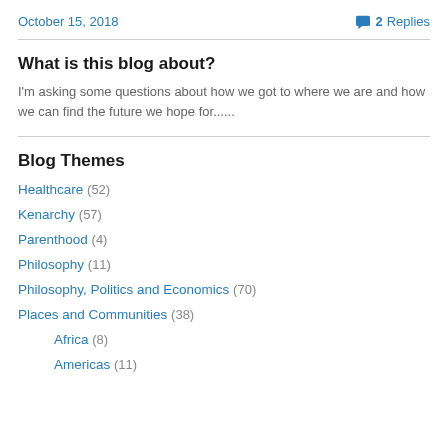October 15, 2018   2 Replies
What is this blog about?
I'm asking some questions about how we got to where we are and how we can find the future we hope for......
Blog Themes
Healthcare (52)
Kenarchy (57)
Parenthood (4)
Philosophy (11)
Philosophy, Politics and Economics (70)
Places and Communities (38)
Africa (8)
Americas (11)